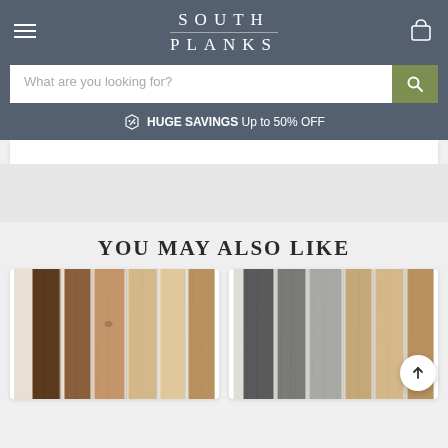SOUTH PLANKS
What are you looking for?
HUGE SAVINGS  Up to 50% OFF
YOU MAY ALSO LIKE
[Figure (photo): Warm-toned reclaimed wood planks in various shades of brown and tan, displayed vertically against a light background]
[Figure (photo): Gray and brown aged reclaimed wood planks displayed vertically against a light background]